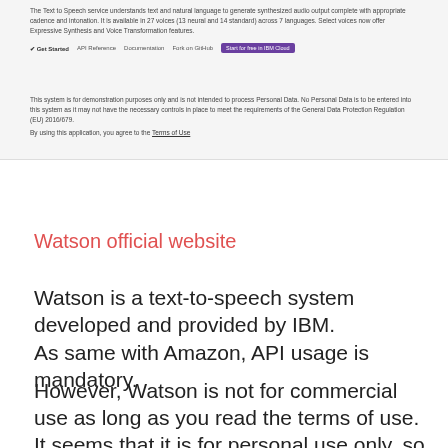[Figure (screenshot): Screenshot of IBM Watson Text to Speech web page showing description text about the service, navigation links (Get Started, API Reference, Documentation, Fork on GitHub), a purple 'Start for free in IBM Cloud' button, and a disclaimer about personal data and GDPR, plus a Terms of Use link.]
Watson official website
Watson is a text-to-speech system developed and provided by IBM.
As same with Amazon, API usage is mandatory.
However, Watson is not for commercial use as long as you read the terms of use. It seems that it is for personal use only, so please use it with caution.